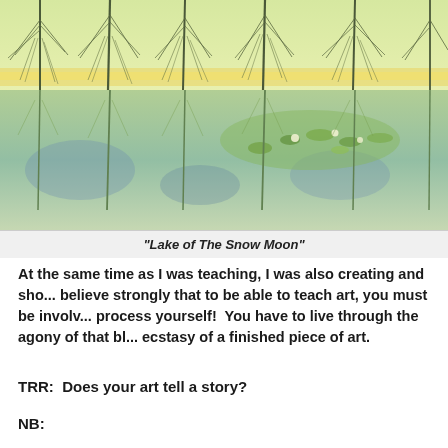[Figure (illustration): Painting of a lake scene with tall thin trees (pine-like) reflected in water, with lily pads and green/yellow/blue tones. Title: Lake of The Snow Moon.]
“Lake of The Snow Moon”
At the same time as I was teaching, I was also creating and sho... believe strongly that to be able to teach art, you must be involv... process yourself!  You have to live through the agony of that bl... ecstasy of a finished piece of art.
TRR:  Does your art tell a story?
NB: